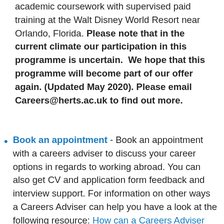academic coursework with supervised paid training at the Walt Disney World Resort near Orlando, Florida. Please note that in the current climate our participation in this programme is uncertain.  We hope that this programme will become part of our offer again. (Updated May 2020). Please email Careers@herts.ac.uk to find out more.
Book an appointment - Book an appointment with a careers adviser to discuss your career options in regards to working abroad. You can also get CV and application form feedback and interview support. For information on other ways a Careers Adviser can help you have a look at the following resource: How can a Careers Adviser help? This hand-out lists just some of the topics that can be covered in consultation with a Careers